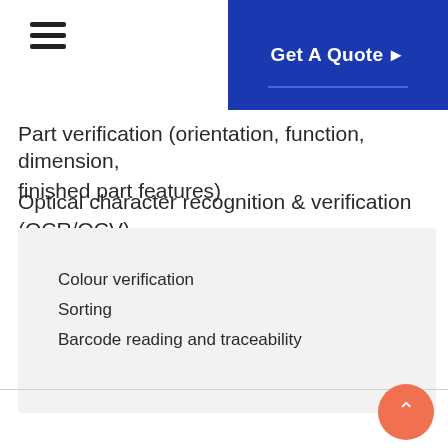Get A Quote ▶
Part verification (orientation, function, dimension, finished part features)
Optical character recognition & verification (OCR/OCV)
Colour verification
Sorting
Barcode reading and traceability